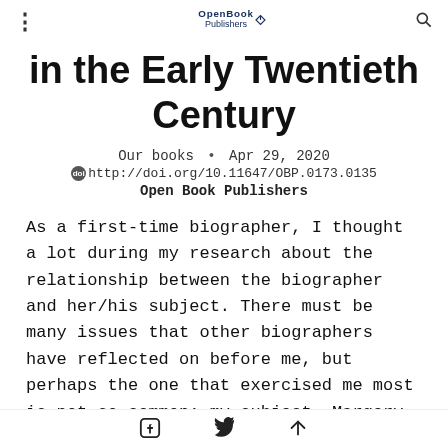Open Book Publishers
in the Early Twentieth Century
Our books · Apr 29, 2020
http://doi.org/10.11647/OBP.0173.0135
Open Book Publishers
As a first-time biographer, I thought a lot during my research about the relationship between the biographer and her/his subject. There must be many issues that other biographers have reflected on before me, but perhaps the one that exercised me most is not so common: my subject, Margery Spring
Share on Facebook · Share on Twitter · Share